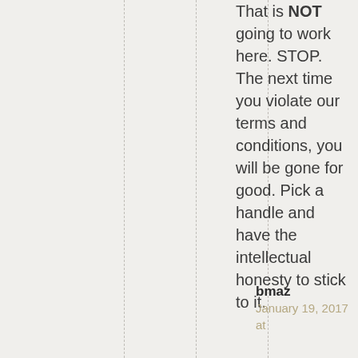That is NOT going to work here. STOP. The next time you violate our terms and conditions, you will be gone for good. Pick a handle and have the intellectual honesty to stick to it.
bmaz
January 19, 2017 at